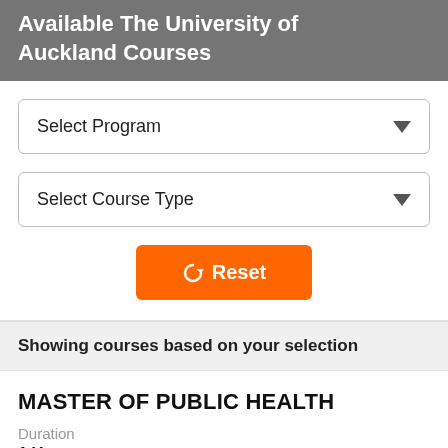Available The University of Auckland Courses
[Figure (screenshot): Select Program dropdown filter]
[Figure (screenshot): Select Course Type dropdown filter]
[Figure (screenshot): Reset button with refresh icon]
Showing courses based on your selection
MASTER OF PUBLIC HEALTH
Duration
1 Year